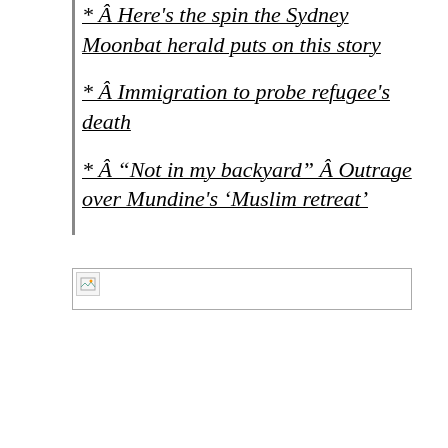* Â Here’s the spin the Sydney Moonbat herald puts on this story
* Â Immigration to probe refugee’s death
* Â “Not in my backyard” Â Outrage over Mundine’s ‘Muslim retreat’
[Figure (other): Broken image placeholder — a small landscape icon in the top-left corner of a rectangular bordered box]